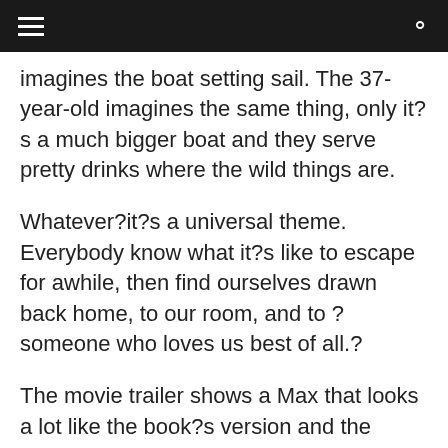imagines the boat setting sail. The 37-year-old imagines the same thing, only it?s a much bigger boat and they serve pretty drinks where the wild things are.
Whatever?it?s a universal theme. Everybody know what it?s like to escape for awhile, then find ourselves drawn back home, to our room, and to ?someone who loves us best of all.?
The movie trailer shows a Max that looks a lot like the book?s version and the monsters are right on, but I?m still wondering how different the wild rumpus will sound in high-def.